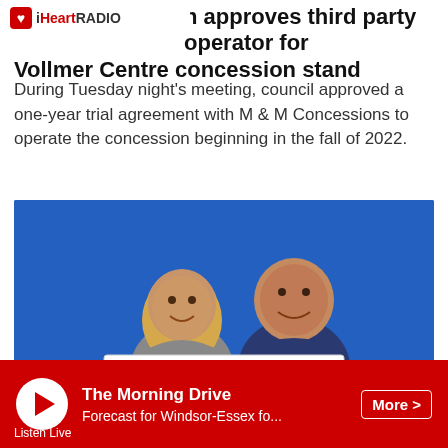iHeartRADIO
council approves third party operator for Vollmer Centre concession stand
During Tuesday night's meeting, council approved a one-year trial agreement with M & M Concessions to operate the concession beginning in the fall of 2022.
[Figure (photo): Two people smiling and holding a lottery prize cheque showing $100,004.00 with Encore branding, in front of a blue background.]
The Morning Drive | Forecast for Windsor-Essex fo... | More > | Listen Live